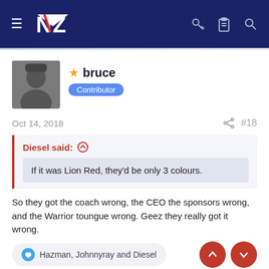NZ Warriors forum header
bruce
Contributor
Oct 14, 2018
#18
Diesel said:
If it was Lion Red, they'd be only 3 colours.
So they got the coach wrong, the CEO the sponsors wrong, and the Warrior toungue wrong. Geez they really got it wrong.
Hazman, Johnnyray and Diesel